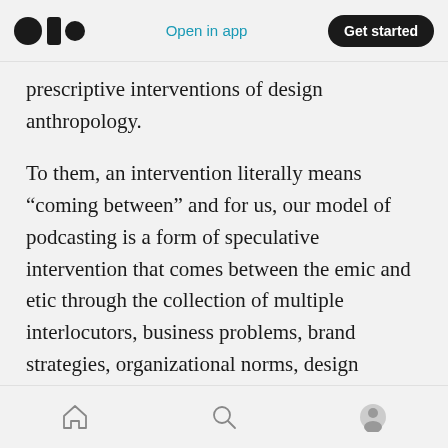Open in app | Get started
prescriptive interventions of design anthropology.
To them, an intervention literally means “coming between” and for us, our model of podcasting is a form of speculative intervention that comes between the emic and etic through the collection of multiple interlocutors, business problems, brand strategies, organizational norms, design solutions, and most importantly, individual’s experiences.
If we consider this kind of work speculative
Home | Search | Profile